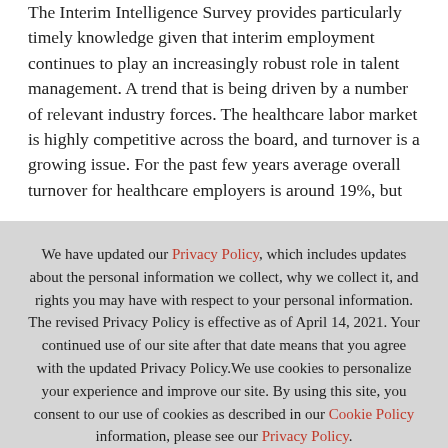The Interim Intelligence Survey provides particularly timely knowledge given that interim employment continues to play an increasingly robust role in talent management. A trend that is being driven by a number of relevant industry forces. The healthcare labor market is highly competitive across the board, and turnover is a growing issue. For the past few years average overall turnover for healthcare employers is around 19%, but
We have updated our Privacy Policy, which includes updates about the personal information we collect, why we collect it, and rights you may have with respect to your personal information. The revised Privacy Policy is effective as of April 14, 2021. Your continued use of our site after that date means that you agree with the updated Privacy Policy.We use cookies to personalize your experience and improve our site. By using this site, you consent to our use of cookies as described in our Cookie Policy information, please see our Privacy Policy.
ACCEPT